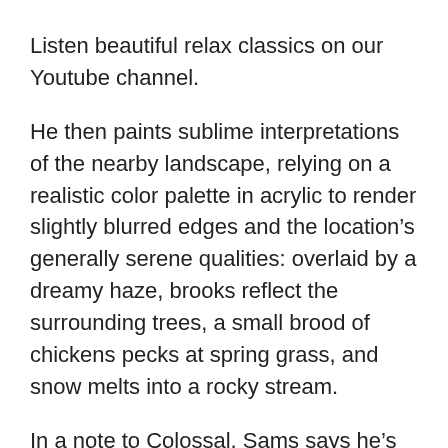Listen beautiful relax classics on our Youtube channel.
He then paints sublime interpretations of the nearby landscape, relying on a realistic color palette in acrylic to render slightly blurred edges and the location’s generally serene qualities: overlaid by a dreamy haze, brooks reflect the surrounding trees, a small brood of chickens pecks at spring grass, and snow melts into a rocky stream.
In a note to Colossal, Sams says he’s most attracted to places layered with contrast, sometimes in the form of light and shadow or disparities in color and others when natural features are positioned alongside human interventions like pathways and barns. “Whatever it is that draws my attention, there is something truthful about the landscape that begs to be painted,” he shares. “This